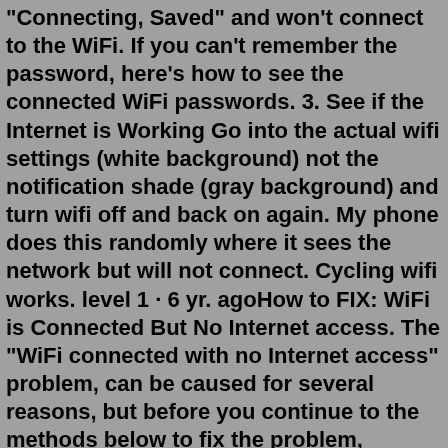"Connecting, Saved" and won't connect to the WiFi. If you can't remember the password, here's how to see the connected WiFi passwords. 3. See if the Internet is Working Go into the actual wifi settings (white background) not the notification shade (gray background) and turn wifi off and back on again. My phone does this randomly where it sees the network but will not connect. Cycling wifi works. level 1 · 6 yr. agoHow to FIX: WiFi is Connected But No Internet access. The "WiFi connected with no Internet access" problem, can be caused for several reasons, but before you continue to the methods below to fix the problem, perform these steps: Step 1. Verify that other Wi-Fi devices can connect to the same wireless network and access the Internet. Step 2 ... Highlight the 'wipe cache partition' option by using the Volume Down key and pressing the Power key to select the option. Updated: Press and hold the Power button on your device till you see the Power menu > Tap Power Off. Connect your phone to a desktop/ laptop with the original Type C cable Hi guys, since the last update to